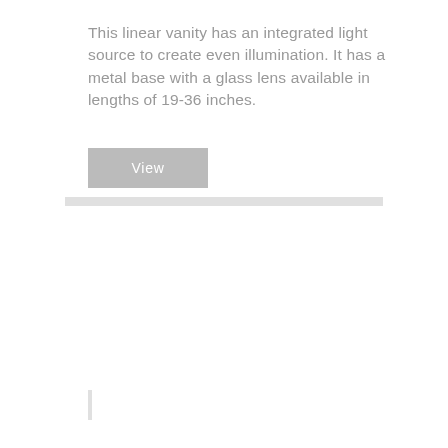This linear vanity has an integrated light source to create even illumination. It has a metal base with a glass lens available in lengths of 19-36 inches.
[Figure (other): A gray rectangular button labeled 'View']
[Figure (other): A light gray horizontal divider bar]